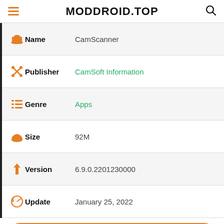MODDROID.TOP
| Field | Value |
| --- | --- |
| Name | CamScanner |
| Publisher | CamSoft Information |
| Genre | Apps |
| Size | 92M |
| Version | 6.9.0.2201230000 |
| Update | January 25, 2022 |
Download
MOD Info?
Instructions For Premium Root Version